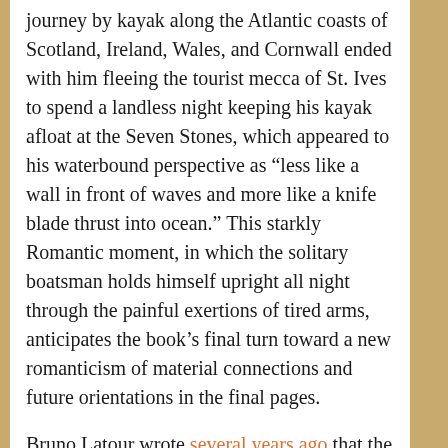journey by kayak along the Atlantic coasts of Scotland, Ireland, Wales, and Cornwall ended with him fleeing the tourist mecca of St. Ives to spend a landless night keeping his kayak afloat at the Seven Stones, which appeared to his waterbound perspective as "less like a wall in front of waves and more like a knife blade thrust into ocean." This starkly Romantic moment, in which the solitary boatsman holds himself upright all night through the painful exertions of tired arms, anticipates the book's final turn toward a new romanticism of material connections and future orientations in the final pages.
Bruno Latour wrote several years ago that the "successor to the sublime is under construction" during our Anthropocene era